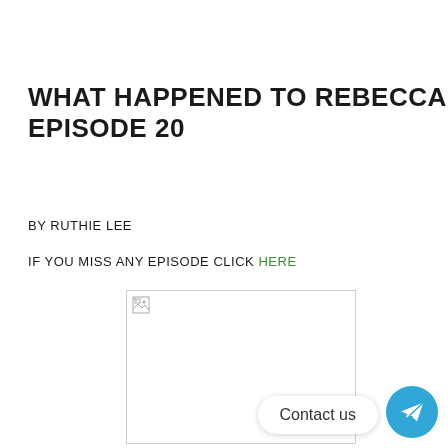WHAT HAPPENED TO REBECCA EPISODE 20
BY RUTHIE LEE
IF YOU MISS ANY EPISODE CLICK HERE
[Figure (photo): Broken image placeholder — a white rectangle with a small broken image icon in the top-left corner, outlined with a light gray border]
Contact us